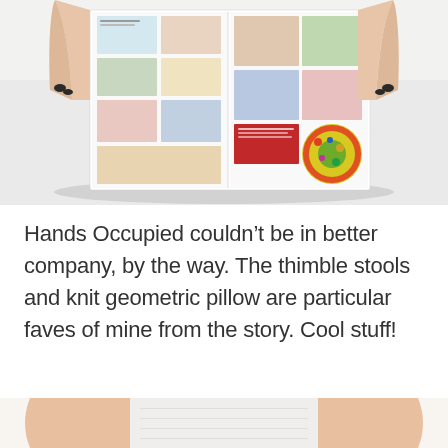[Figure (photo): Overhead photo of hands holding open a colorful craft/lifestyle magazine with multiple images of DIY projects, knitting, and colorful items visible on the pages. White background surface.]
Hands Occupied couldn't be in better company, by the way. The thimble stools and knit geometric pillow are particular faves of mine from the story. Cool stuff!
[Figure (photo): Partial bottom crop of a photo showing a person's arms/torso in a white or light-colored outfit against a white background.]